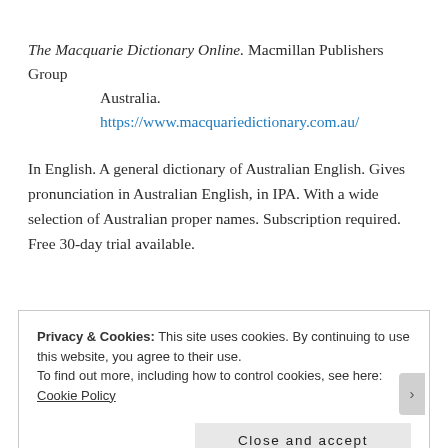The Macquarie Dictionary Online. Macmillan Publishers Group Australia. https://www.macquariedictionary.com.au/
In English. A general dictionary of Australian English. Gives pronunciation in Australian English, in IPA. With a wide selection of Australian proper names. Subscription required. Free 30-day trial available.
Privacy & Cookies: This site uses cookies. By continuing to use this website, you agree to their use. To find out more, including how to control cookies, see here: Cookie Policy
Close and accept